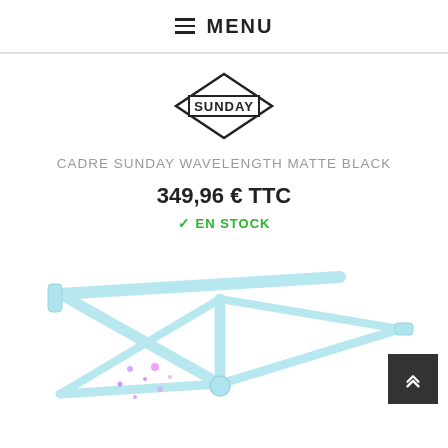MENU
[Figure (logo): Sunday brand logo — hexagonal diamond shape with SUNDAY text in bold uppercase inside a rectangular border]
CADRE SUNDAY WAVELENGTH MATTE BLACK
349,96 € TTC
EN STOCK
[Figure (photo): Partial photo of a light blue/white BMX bicycle frame (Sunday Wavelength Matte Black) showing the main triangle, rear stays and chain stays from an angled view, with some colorful paint splatter details]